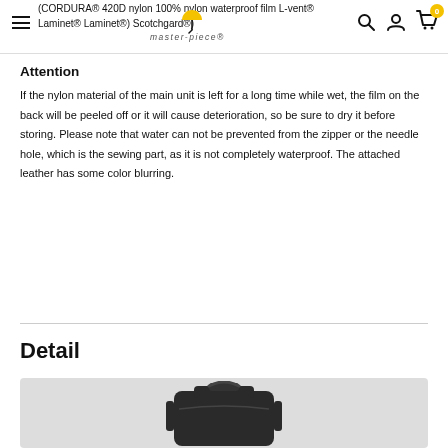(CORDURA® 420D nylon 100% nylon waterproof film L-vent® Laminet® Laminet®) Scotchgard®)
Attention
If the nylon material of the main unit is left for a long time while wet, the film on the back will be peeled off or it will cause deterioration, so be sure to dry it before storing. Please note that water can not be prevented from the zipper or the needle hole, which is the sewing part, as it is not completely waterproof. The attached leather has some color blurring.
Detail
[Figure (photo): Black backpack product detail photo]